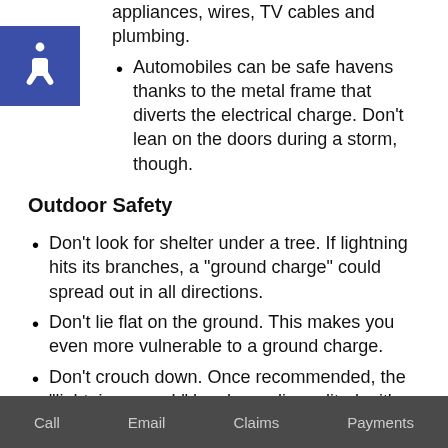appliances, wires, TV cables and plumbing.
Automobiles can be safe havens thanks to the metal frame that diverts the electrical charge. Don’t lean on the doors during a storm, though.
[Figure (illustration): Blue square with white wheelchair accessibility icon]
Outdoor Safety
Don’t look for shelter under a tree. If lightning hits its branches, a “ground charge” could spread out in all directions.
Don’t lie flat on the ground. This makes you even more vulnerable to a ground charge.
Don’t crouch down. Once recommended, the “lightning crouch” has been discredited – it’s not likely any safer than standing if you’re outside during a storm. Instead, get inside or into a car.
Call   Email   Claims   Payments